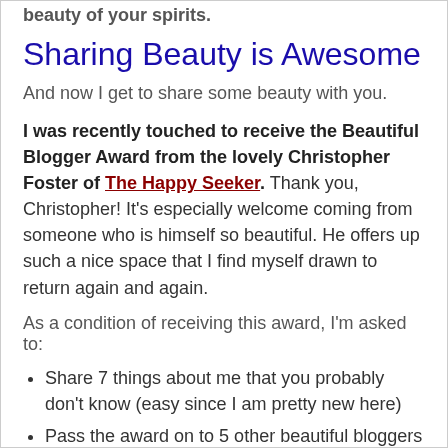beauty of your spirits.
Sharing Beauty is Awesome
And now I get to share some beauty with you.
I was recently touched to receive the Beautiful Blogger Award from the lovely Christopher Foster of The Happy Seeker. Thank you, Christopher! It’s especially welcome coming from someone who is himself so beautiful. He offers up such a nice space that I find myself drawn to return again and again.
As a condition of receiving this award, I’m asked to:
Share 7 things about me that you probably don’t know (easy since I am pretty new here)
Pass the award on to 5 other beautiful bloggers (easy even though I am pretty new here)
Here goes!